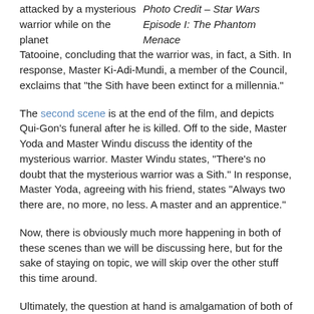attacked by a mysterious warrior while on the planet Tatooine, concluding that the warrior was, in fact, a Sith. In response, Master Ki-Adi-Mundi, a member of the Council, exclaims that “the Sith have been extinct for a millennia.”
Photo Credit – Star Wars Episode I: The Phantom Menace
The second scene is at the end of the film, and depicts Qui-Gon’s funeral after he is killed. Off to the side, Master Yoda and Master Windu discuss the identity of the mysterious warrior. Master Windu states, “There’s no doubt that the mysterious warrior was a Sith.” In response, Master Yoda, agreeing with his friend, states “Always two there are, no more, no less. A master and an apprentice.”
Now, there is obviously much more happening in both of these scenes than we will be discussing here, but for the sake of staying on topic, we will skip over the other stuff this time around.
Ultimately, the question at hand is amalgamation of both of these